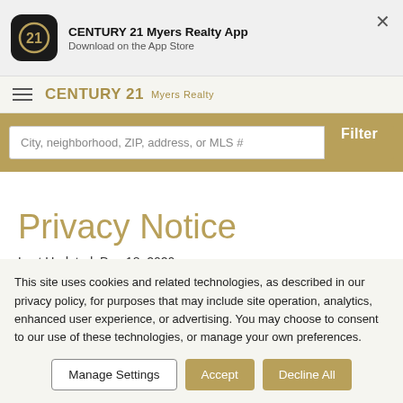[Figure (logo): CENTURY 21 app banner with app icon, app name, download text, and close button]
CENTURY 21 Myers Realty
City, neighborhood, ZIP, address, or MLS #
Privacy Notice
Last Updated: Dec 18, 2020
This site uses cookies and related technologies, as described in our privacy policy, for purposes that may include site operation, analytics, enhanced user experience, or advertising. You may choose to consent to our use of these technologies, or manage your own preferences.
Manage Settings | Accept | Decline All